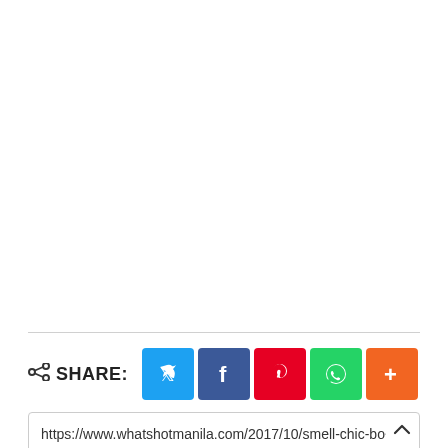SHARE: [Twitter] [Facebook] [Pinterest] [WhatsApp] [More]
https://www.whatshotmanila.com/2017/10/smell-chic-bo~